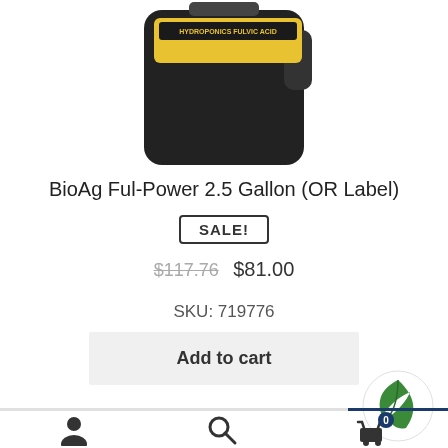[Figure (photo): Product photo of BioAg Ful-Power 2.5 Gallon container, dark colored jug with yellow label, partially cropped at top]
BioAg Ful-Power 2.5 Gallon (OR Label)
SALE!
$117.76  $81.00
SKU: 719776
Add to cart
[Figure (logo): Circular green leaf badge/logo in bottom right corner]
Navigation bar with user account icon, search icon, and shopping cart icon with badge showing 0